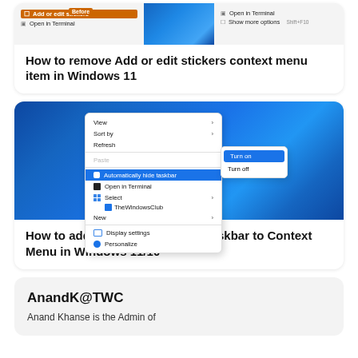[Figure (screenshot): Windows 11 context menu screenshot showing 'Add or edit stickers' item highlighted with Before label, and Open in Terminal option visible on both sides]
How to remove Add or edit stickers context menu item in Windows 11
[Figure (screenshot): Windows 11 desktop context menu showing 'Automatically hide taskbar' highlighted in blue with Turn on / Turn off submenu, plus other menu items like View, Sort by, Refresh, Paste, Open in Terminal, Select, New, Display settings, Personalize]
How to add Automatically Hide Taskbar to Context Menu in Windows 11/10
AnandK@TWC
Anand Khanse is the Admin of